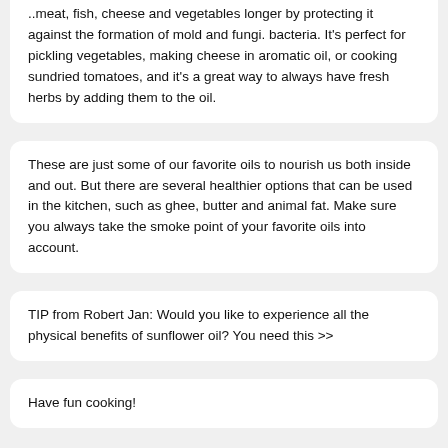..meat, fish, cheese and vegetables longer by protecting it against the formation of mold and fungi. bacteria. It's perfect for pickling vegetables, making cheese in aromatic oil, or cooking sundried tomatoes, and it's a great way to always have fresh herbs by adding them to the oil.
These are just some of our favorite oils to nourish us both inside and out. But there are several healthier options that can be used in the kitchen, such as ghee, butter and animal fat. Make sure you always take the smoke point of your favorite oils into account.
TIP from Robert Jan: Would you like to experience all the physical benefits of sunflower oil? You need this >>
Have fun cooking!